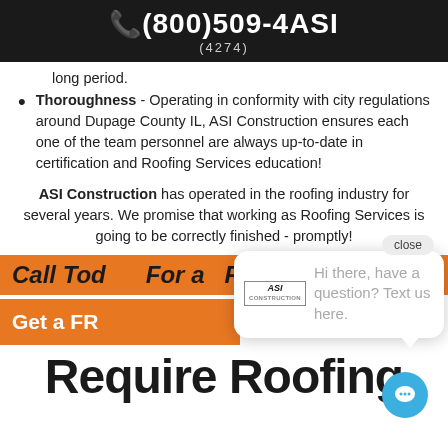(800)509-4ASI (4274)
long period.
Thoroughness - Operating in conformity with city regulations around Dupage County IL, ASI Construction ensures each one of the team personnel are always up-to-date in certification and Roofing Services education!
ASI Construction has operated in the roofing industry for several years. We promise that working as Roofing Services is going to be correctly finished - promptly!
[Figure (screenshot): Orange banner with 'Call Today For a FREE Inspection' text partially visible]
[Figure (screenshot): Chat popup with ASL Construction logo and text 'Hi there, have a question? Text us here.' with a close button]
Require Roofing